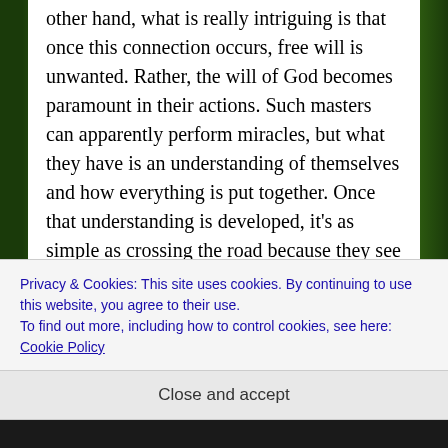other hand, what is really intriguing is that once this connection occurs, free will is unwanted. Rather, the will of God becomes paramount in their actions. Such masters can apparently perform miracles, but what they have is an understanding of themselves and how everything is put together. Once that understanding is developed, it's as simple as crossing the road because they see how it all works.

As I sit here, I know that I am playing out my life song. I know that all is as it should be. I also know that however imperfectly, I have signed up to understand more. Although the progress I have made so far is small or even non-existent, I continue to try through
Privacy & Cookies: This site uses cookies. By continuing to use this website, you agree to their use.
To find out more, including how to control cookies, see here: Cookie Policy
Close and accept